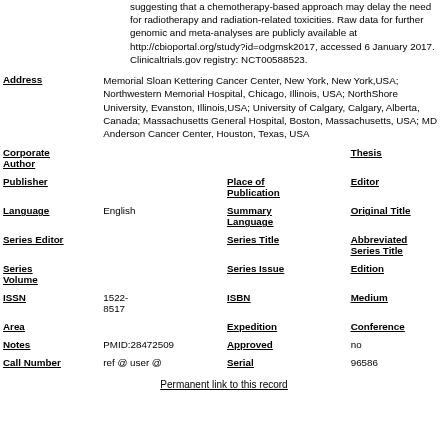suggesting that a chemotherapy-based approach may delay the need for radiotherapy and radiation-related toxicities. Raw data for further genomic and meta-analyses are publicly available at http://cbioportal.org/study?id=odgmsk2017, accessed 6 January 2017. Clinicaltrials.gov registry: NCT00588523.
| Address | Memorial Sloan Kettering Cancer Center, New York, New York,USA; Northwestern Memorial Hospital, Chicago, Illinois, USA; NorthShore University, Evanston, Illinois,USA; University of Calgary, Calgary, Alberta, Canada; Massachusetts General Hospital, Boston, Massachusetts, USA; MD Anderson Cancer Center, Houston, Texas, USA |  |  |
| Corporate Author |  |  | Thesis |
| Publisher |  | Place of Publication | Editor |
| Language | English | Summary Language | Original Title |
| Series Editor |  | Series Title | Abbreviated Series Title |
| Series Volume |  | Series Issue | Edition |
| ISSN | 1522-8517 | ISBN | Medium |
| Area |  | Expedition | Conference |
| Notes | PMID:28472509 | Approved | no |
| Call Number | ref @ user @ | Serial | 96586 |
Permanent link to this record